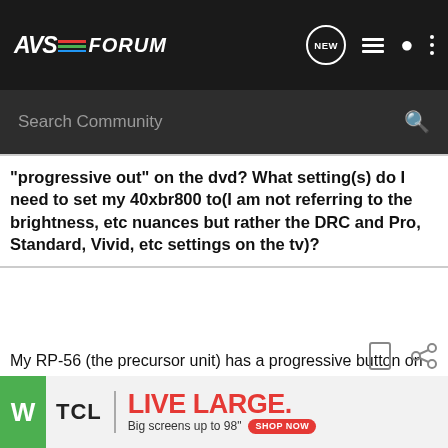AVS FORUM
Search Community
"progressive out" on the dvd? What setting(s) do I need to set my 40xbr800 to(I am not referring to the brightness, etc nuances but rather the DRC and Pro, Standard, Vivid, etc settings on the tv)?
My RP-56 (the precursor unit) has a progressive button on the front panel. I just push it and make no changes in my 34XBR800 configuration.
Phil
[Figure (infographic): TCL Live Large advertisement banner with green W block, TCL logo, Live Large text in red, Big screens up to 98" text, and Shop Now red button]